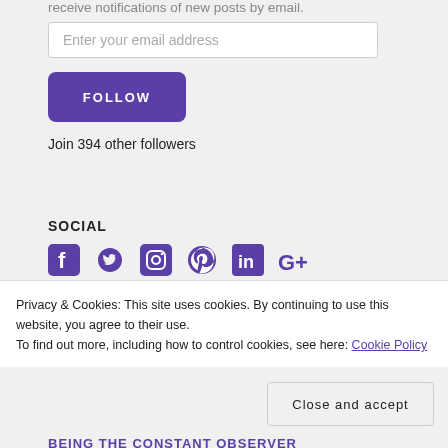receive notifications of new posts by email.
Enter your email address
FOLLOW
Join 394 other followers
SOCIAL
[Figure (illustration): Social media icons: Facebook, Twitter, Instagram, Pinterest, LinkedIn, Google+]
Privacy & Cookies: This site uses cookies. By continuing to use this website, you agree to their use.
To find out more, including how to control cookies, see here: Cookie Policy
Close and accept
BEING THE CONSTANT OBSERVER